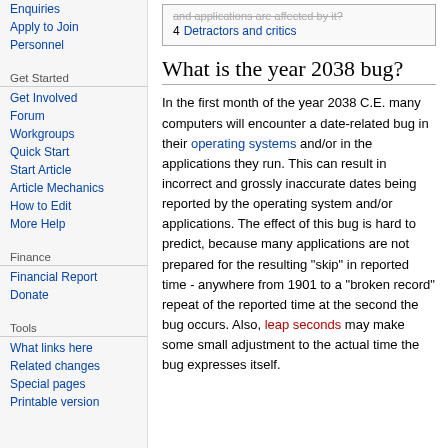Enquiries
Apply to Join
Personnel
Get Started
Get Involved
Forum
Workgroups
Quick Start
Start Article
Article Mechanics
How to Edit
More Help
Finance
Financial Report
Donate
Tools
What links here
Related changes
Special pages
Printable version
| # | Link |
| --- | --- |
| 4 | Detractors and critics |
What is the year 2038 bug?
In the first month of the year 2038 C.E. many computers will encounter a date-related bug in their operating systems and/or in the applications they run. This can result in incorrect and grossly inaccurate dates being reported by the operating system and/or applications. The effect of this bug is hard to predict, because many applications are not prepared for the resulting "skip" in reported time - anywhere from 1901 to a "broken record" repeat of the reported time at the second the bug occurs. Also, leap seconds may make some small adjustment to the actual time the bug expresses itself.